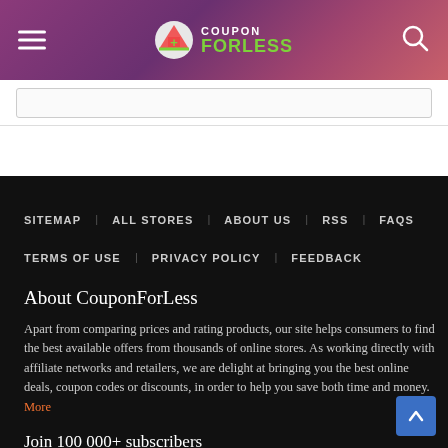CouponForLess navigation header with hamburger menu, logo, and search icon
SITEMAP
ALL STORES
ABOUT US
RSS
FAQS
TERMS OF USE
PRIVACY POLICY
FEEDBACK
About CouponForLess
Apart from comparing prices and rating products, our site helps consumers to find the best available offers from thousands of online stores. As working directly with affiliate networks and retailers, we are delight at bringing you the best online deals, coupon codes or discounts, in order to help you save both time and money. More
Join 100 000+ subscribers